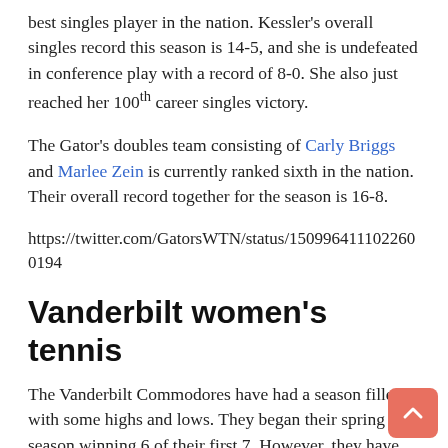best singles player in the nation. Kessler's overall singles record this season is 14-5, and she is undefeated in conference play with a record of 8-0. She also just reached her 100th career singles victory.
The Gator's doubles team consisting of Carly Briggs and Marlee Zein is currently ranked sixth in the nation. Their overall record together for the season is 16-8.
https://twitter.com/GatorsWTN/status/1509964111022600194
Vanderbilt women's tennis
The Vanderbilt Commodores have had a season filled with some highs and lows. They began their spring season winning 6 of their first 7. However, they have currently lost 5 of their last 7 matchups and have posted a 10-6 overall record. In SEC play, they are 2-5 this season. The Commodores' highest ranked singles player is Anessa Lee at 72. Lee has an 18-9 overall record this season. In doubles, Vanderbilt's best duo is Anna Ross and Holly Staff at 76